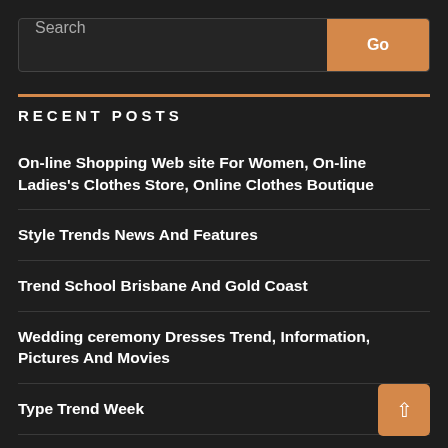[Figure (screenshot): Search bar with text input labeled 'Search' and orange 'Go' button]
RECENT POSTS
On-line Shopping Web site For Women, On-line Ladies's Clothes Store, Online Clothes Boutique
Style Trends News And Features
Trend School Brisbane And Gold Coast
Wedding ceremony Dresses Trend, Information, Pictures And Movies
Type Trend Week